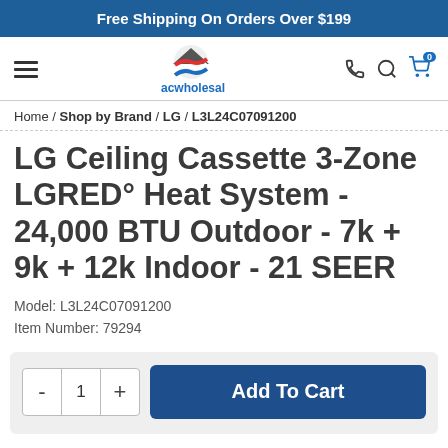Free Shipping On Orders Over $199
[Figure (logo): ACWholesalers logo with house icon and colored wave layers, text 'acwholesalers']
Home / Shop by Brand / LG / L3L24C07091200
LG Ceiling Cassette 3-Zone LGRED° Heat System - 24,000 BTU Outdoor - 7k + 9k + 12k Indoor - 21 SEER
Model: L3L24C07091200
Item Number: 79294
- 1 + Add To Cart